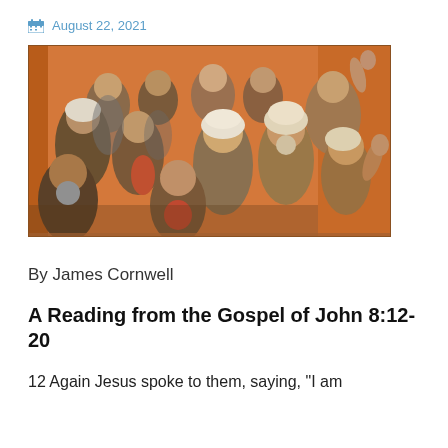August 22, 2021
[Figure (illustration): Medieval or Byzantine-style painting showing a crowd of robed figures, men with beards, one figure with white head covering on the right raising a hand toward an orange/red architectural background.]
By James Cornwell
A Reading from the Gospel of John 8:12-20
12 Again Jesus spoke to them, saying, "I am